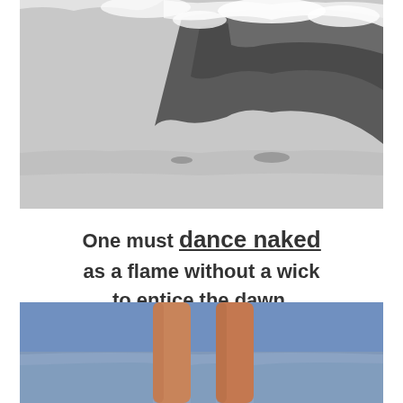[Figure (photo): Black and white photograph of ocean waves crashing against rocky shoreline with white sea foam and spray.]
One must dance naked as a flame without a wick to entice the dawn.
[Figure (photo): Color photograph of a person's legs standing in shallow ocean water with blue sky and sea in the background.]